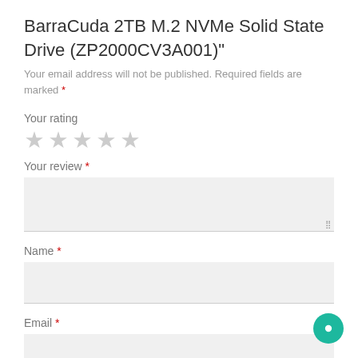BarraCuda 2TB M.2 NVMe Solid State Drive (ZP2000CV3A001)"
Your email address will not be published. Required fields are marked *
Your rating
[Figure (other): Five empty star rating icons in gray]
Your review *
Name *
Email *